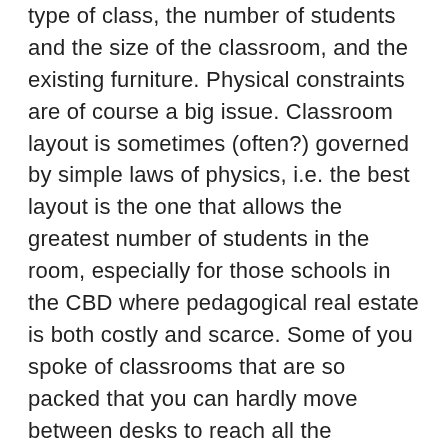type of class, the number of students and the size of the classroom, and the existing furniture. Physical constraints are of course a big issue. Classroom layout is sometimes (often?) governed by simple laws of physics, i.e. the best layout is the one that allows the greatest number of students in the room, especially for those schools in the CBD where pedagogical real estate is both costly and scarce. Some of you spoke of classrooms that are so packed that you can hardly move between desks to reach all the students, let alone reconfigure them. And large, heavy desks seemed to cause similar issues.